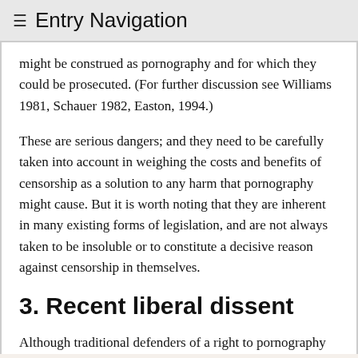≡ Entry Navigation
might be construed as pornography and for which they could be prosecuted. (For further discussion see Williams 1981, Schauer 1982, Easton, 1994.)
These are serious dangers; and they need to be carefully taken into account in weighing the costs and benefits of censorship as a solution to any harm that pornography might cause. But it is worth noting that they are inherent in many existing forms of legislation, and are not always taken to be insoluble or to constitute a decisive reason against censorship in themselves.
3. Recent liberal dissent
Although traditional defenders of a right to pornography have been liberals, it is important to note that not all contemporary liberals defend such a right. Indeed, the question of whether there might be good liberal grounds for prohibiting or otherwise regulating the voluntary private consumption of (some) pornography has become